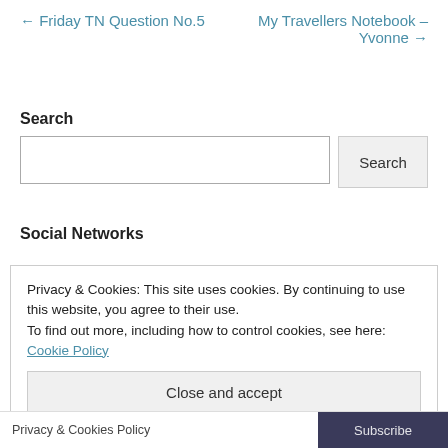← Friday TN Question No.5
My Travellers Notebook – Yvonne →
Search
Search (input and button)
Social Networks
Privacy & Cookies: This site uses cookies. By continuing to use this website, you agree to their use.
To find out more, including how to control cookies, see here: Cookie Policy
Close and accept
Privacy & Cookies Policy